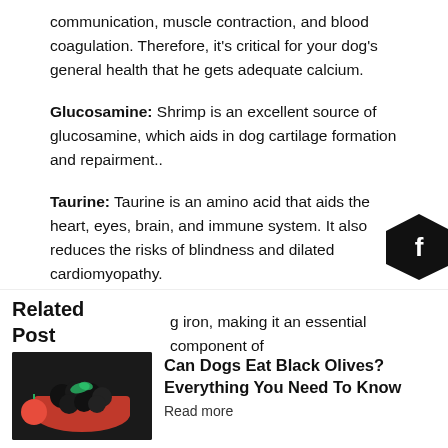communication, muscle contraction, and blood coagulation. Therefore, it's critical for your dog's general health that he gets adequate calcium.
Glucosamine: Shrimp is an excellent source of glucosamine, which aids in dog cartilage formation and repairment.
Taurine: Taurine is an amino acid that aids the heart, eyes, brain, and immune system. It also reduces the risks of blindness and dilated cardiomyopathy.
Copper: Copper is necessary for producing bones, tendons and ligaments, collagen, and myelin in dogs. Copper also
Related Post
[Figure (photo): Bowl of black olives with a tomato and garnish]
Can Dogs Eat Black Olives? Everything You Need To Know
Read more